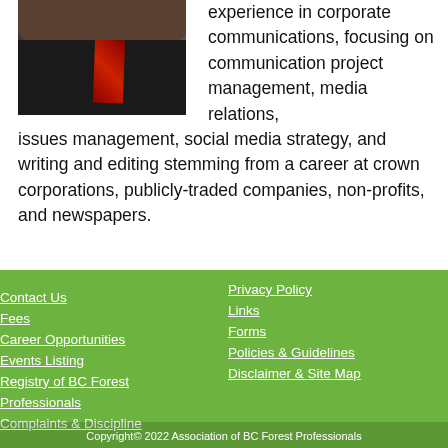[Figure (photo): Professional headshot of a man in a dark suit with a striped tie]
experience in corporate communications, focusing on communication project management, media relations, issues management, social media strategy, and writing and editing stemming from a career at crown corporations, publicly-traded companies, non-profits, and newspapers.
Contact Us
Fees
Career Opportunities
Events Listing
Registry of BC Forest Professionals
Complaints & Discipline
Privacy Policy
Links
Forms
Policies & Guidelines
Disclaimer & Site Map
Copyright© 2022 Association of BC Forest Professionals